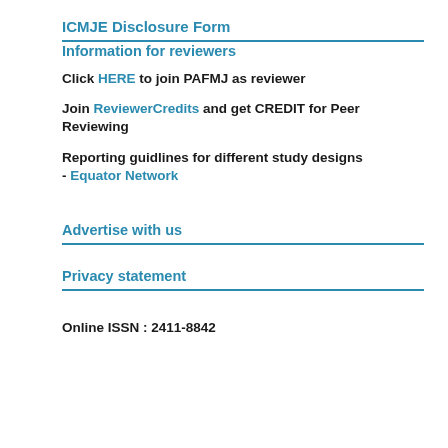ICMJE Disclosure Form
Information for reviewers
Click HERE to join PAFMJ as reviewer
Join ReviewerCredits and get CREDIT for Peer Reviewing
Reporting guidlines for different study designs - Equator Network
Advertise with us
Privacy statement
Online ISSN : 2411-8842